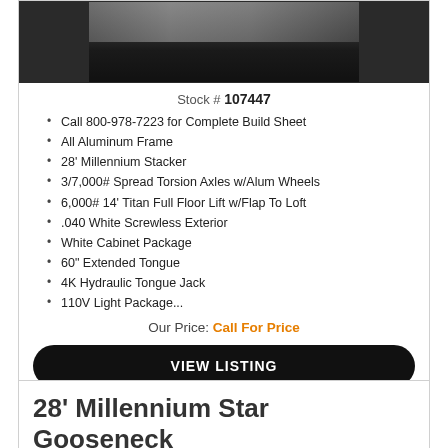[Figure (photo): Photo of a trailer (28' Millennium Stacker), dark background showing the rear/side of the trailer]
Stock # 107447
Call 800-978-7223 for Complete Build Sheet
All Aluminum Frame
28' Millennium Stacker
3/7,000# Spread Torsion Axles w/Alum Wheels
6,000# 14' Titan Full Floor Lift w/Flap To Loft
.040 White Screwless Exterior
White Cabinet Package
60" Extended Tongue
4K Hydraulic Tongue Jack
110V Light Package...
Our Price: Call For Price
VIEW LISTING
28' Millennium Star Gooseneck 2/10K Axles!